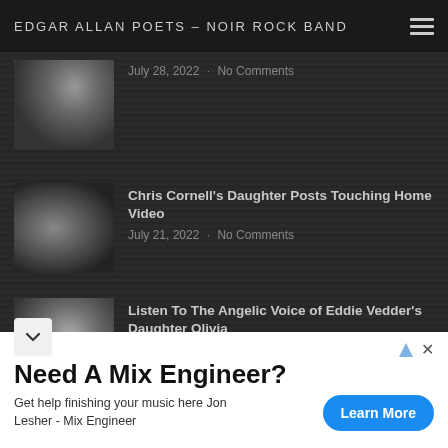EDGAR ALLAN POETS – NOIR ROCK BAND
[Figure (photo): Partial thumbnail of a woman with dark hair, cropped]
July 28, 2022 · No Comments
[Figure (photo): Thumbnail of a man with long dark hair, another person in white shirt]
Chris Cornell's Daughter Posts Touching Home Video
July 21, 2022 · No Comments
[Figure (photo): Thumbnail of a woman with dark hair and a smiling man]
Listen To The Angelic Voice of Eddie Vedder's Daughter Olivia
July 18, 2022 · No Comments
Need A Mix Engineer?
Get help finishing your music here Jon Lesher - Mix Engineer